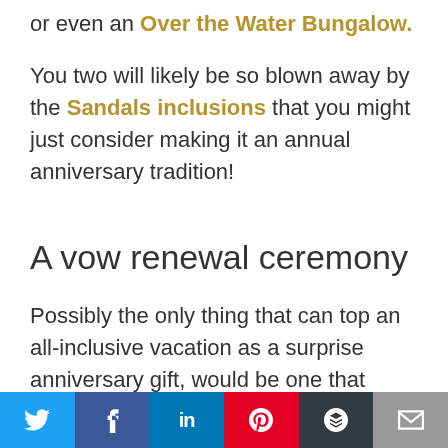or even an Over the Water Bungalow. You two will likely be so blown away by the Sandals inclusions that you might just consider making it an annual anniversary tradition!
A vow renewal ceremony
Possibly the only thing that can top an all-inclusive vacation as a surprise anniversary gift, would be one that includes a vow renewal celebration
[Figure (infographic): Social media sharing bar with Twitter, Facebook, LinkedIn, Pinterest, Buffer, and Email buttons]